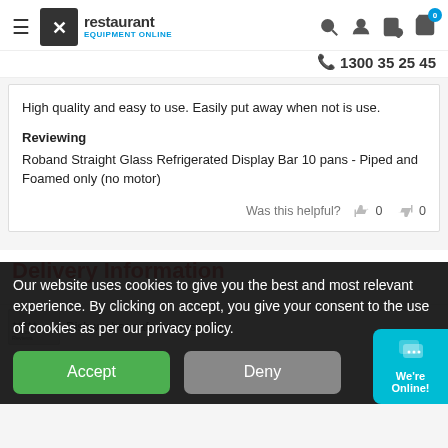Restaurant Equipment Online — 1300 35 25 45
High quality and easy to use. Easily put away when not is use.
Reviewing
Roband Straight Glass Refrigerated Display Bar 10 pans - Piped and Foamed only (no motor)
Was this helpful? 0 0
Delivery Information
Our website uses cookies to give you the best and most relevant experience. By clicking on accept, you give your consent to the use of cookies as per our privacy policy.
Accept   Deny
We're Online!